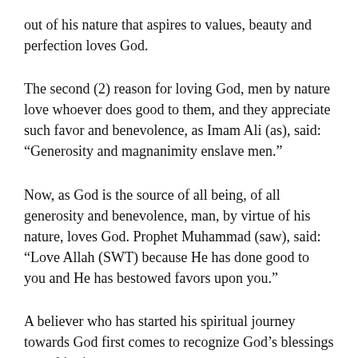out of his nature that aspires to values, beauty and perfection loves God.
The second (2) reason for loving God, men by nature love whoever does good to them, and they appreciate such favor and benevolence, as Imam Ali (as), said: “Generosity and magnanimity enslave men.”
Now, as God is the source of all being, of all generosity and benevolence, man, by virtue of his nature, loves God. Prophet Muhammad (saw), said: “Love Allah (SWT) because He has done good to you and He has bestowed favors upon you.”
A believer who has started his spiritual journey towards God first comes to recognize God’s blessings upon him in